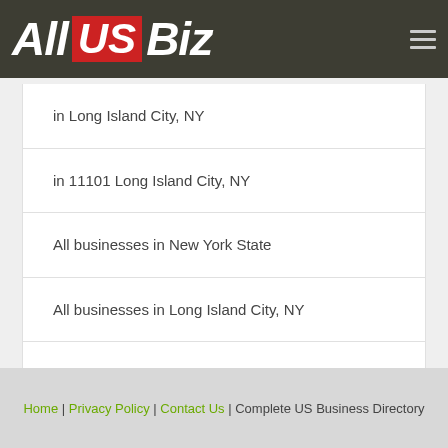All US Biz
in Long Island City, NY
in 11101 Long Island City, NY
All businesses in New York State
All businesses in Long Island City, NY
All businesses in 11101 Long Island City, NY
Home | Privacy Policy | Contact Us | Complete US Business Directory